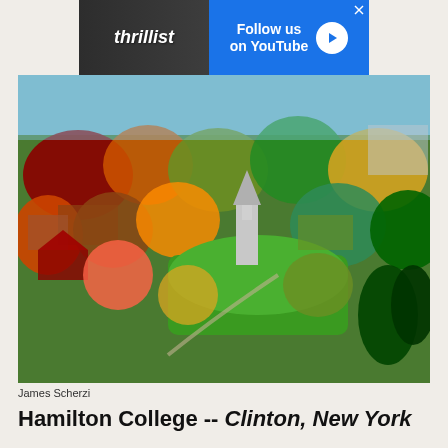[Figure (photo): Thrillist advertisement banner with 'Follow us on YouTube' call to action]
[Figure (photo): Aerial autumn photograph of Hamilton College campus in Clinton, New York, showing tree-covered grounds with fall foliage in red, orange, and green, with a white church steeple visible in the center]
James Scherzi
Hamilton College -- Clinton, New York
Often dubbed "College on the Hill" for,